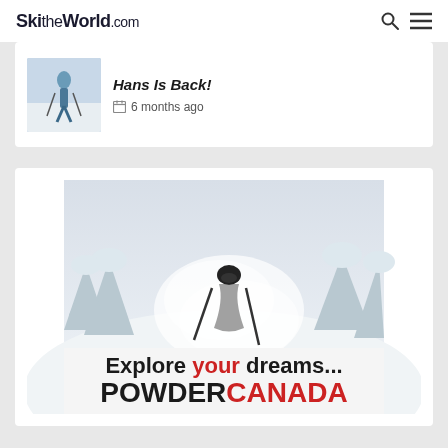SkitheWorld.com
Hans Is Back!
6 months ago
[Figure (illustration): Advertisement for PowderCanada showing a skier in deep powder snow surrounded by snow-covered trees, with text 'Explore your dreams... POWDERCANADA']